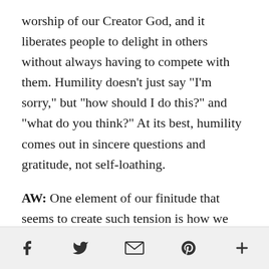worship of our Creator God, and it liberates people to delight in others without always having to compete with them. Humility doesn’t just say “I’m sorry,” but “how should I do this?” and “what do you think?” At its best, humility comes out in sincere questions and gratitude, not self-loathing.
AW: One element of our finitude that seems to create such tension is how we relate to time and the demands of our life. You note a helpful distinction between stress and anxiety
[social share icons: Facebook, Twitter, Email, Pinterest, More]